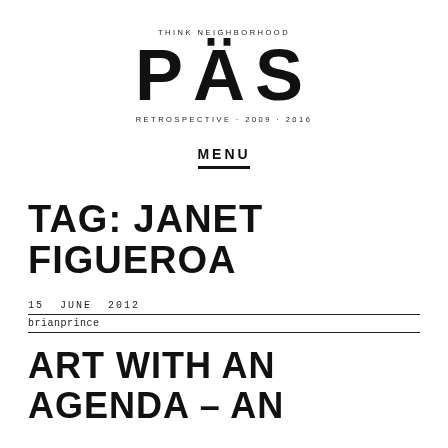THINK NEIGHBORHOOD
PÄS
RETROSPECTIVE · 2009 · 2016
MENU
TAG: JANET FIGUEROA
15 JUNE 2012
brianprince
ART WITH AN AGENDA – AN